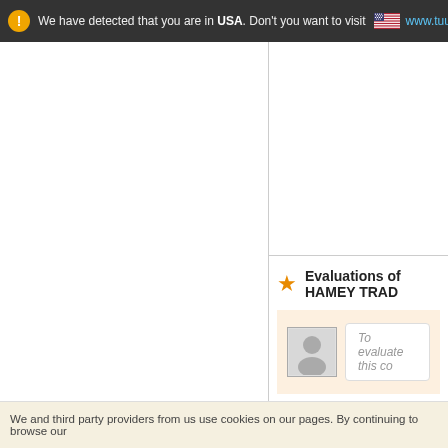We have detected that you are in USA. Don't you want to visit  www.tuugo.
Evaluations of HAMEY TRAD
To evaluate this co
We and third party providers from us use cookies on our pages. By continuing to browse our